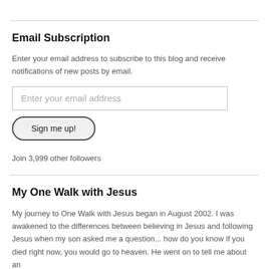Email Subscription
Enter your email address to subscribe to this blog and receive notifications of new posts by email.
Enter your email address
Sign me up!
Join 3,999 other followers
My One Walk with Jesus
My journey to One Walk with Jesus began in August 2002. I was awakened to the differences between believing in Jesus and following Jesus when my son asked me a question... how do you know if you died right now, you would go to heaven. He went on to tell me about an